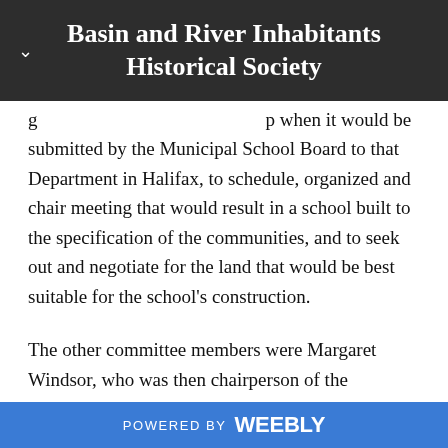Basin and River Inhabitants Historical Society
g ... p ... when it would be submitted by the Municipal School Board to that Department in Halifax, to schedule, organized and chair meeting that would result in a school built to the specification of the communities, and to seek out and negotiate for the land that would be best suitable for the school's construction.
The other committee members were Margaret Windsor, who was then chairperson of the Riverdale Consolidated School Section, and the late Lloyd Hill, a chemistry teacher at Port Hawkesbury High School and resident of Haversville. We'll schedule a meeting to other and ...
POWERED BY weebly